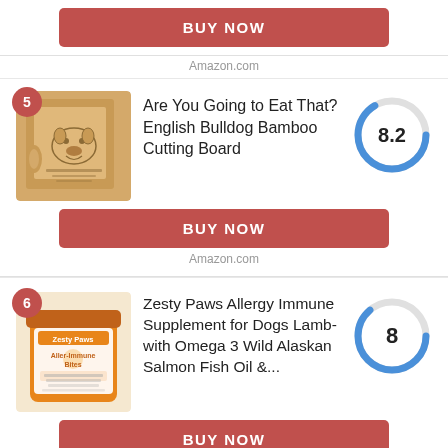[Figure (other): Red BUY NOW button at top of page]
Amazon.com
[Figure (other): Item 5: Are You Going to Eat That? English Bulldog Bamboo Cutting Board product image with badge 5 and score donut 8.2]
Are You Going to Eat That? English Bulldog Bamboo Cutting Board
[Figure (donut-chart): Score]
[Figure (other): BUY NOW button for item 5]
Amazon.com
[Figure (other): Item 6: Zesty Paws Allergy Immune Supplement for Dogs product image with badge 6 and score donut 8]
Zesty Paws Allergy Immune Supplement for Dogs Lamb- with Omega 3 Wild Alaskan Salmon Fish Oil &...
[Figure (donut-chart): Score]
[Figure (other): BUY NOW button for item 6]
Amazon.com